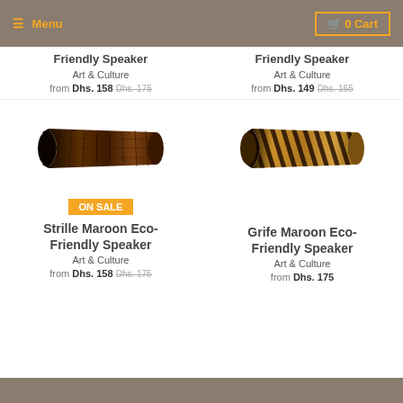Menu | 0 Cart
Friendly Speaker
Art & Culture
from Dhs. 158 Dhs. 175
Friendly Speaker
Art & Culture
from Dhs. 149 Dhs. 165
[Figure (photo): Wooden eco-friendly speaker with dark brown ridged texture, hourglass/dumbbell shape, viewed from front-left angle]
[Figure (photo): Wooden eco-friendly speaker with zebra-stripe pattern, hourglass/dumbbell shape, viewed from front-right angle]
ON SALE
Strille Maroon Eco-Friendly Speaker
Art & Culture
from Dhs. 158 Dhs. 175
Grife Maroon Eco-Friendly Speaker
Art & Culture
from Dhs. 175